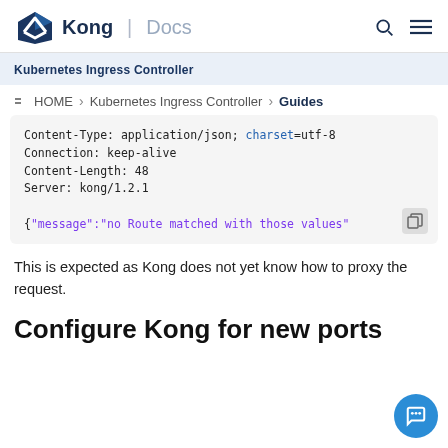Kong | Docs
Kubernetes Ingress Controller
HOME > Kubernetes Ingress Controller > Guides
Content-Type: application/json; charset=utf-8
Connection: keep-alive
Content-Length: 48
Server: kong/1.2.1

{"message":"no Route matched with those values"
This is expected as Kong does not yet know how to proxy the request.
Configure Kong for new ports